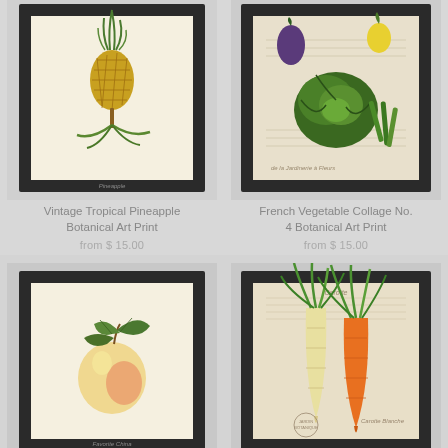[Figure (illustration): Framed botanical art print of a pineapple plant on cream background with black frame]
Vintage Tropical Pineapple Botanical Art Print
from $ 15.00
[Figure (illustration): Framed botanical art print collage of French vegetables (cabbage, eggplant, beans) on aged paper background with black frame]
French Vegetable Collage No. 4 Botanical Art Print
from $ 15.00
[Figure (illustration): Framed botanical art print of a peach fruit with green leaves on cream background with black frame]
[Figure (illustration): Framed botanical art print of two carrots (orange and white) with green tops on aged paper background with black frame]